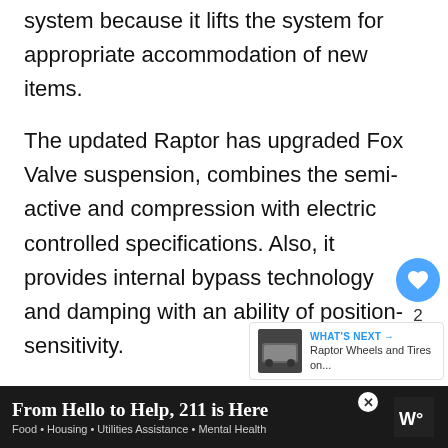system because it lifts the system for appropriate accommodation of new items.
The updated Raptor has upgraded Fox Valve suspension, combines the semi-active and compression with electric controlled specifications. Also, it provides internal bypass technology and damping with an ability of position-sensitivity.
Furthermore, it has a smooth-riding facility in fast-speed conditions. In this step, add a washer on the top side of the bolt that helps th[e] shock for appropriate adjustment.
[Figure (other): Like button (heart icon, blue circle) with count 2, and a share button below it]
[Figure (other): What's Next panel with a Raptor vehicle thumbnail and text: WHAT'S NEXT → Raptor Wheels and Tires on...]
[Figure (other): Advertisement banner: 'From Hello to Help, 211 is Here' with subtext 'Food • Housing • Utilities Assistance • Mental Health']